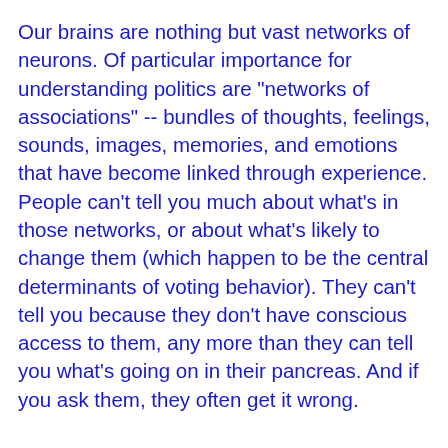Our brains are nothing but vast networks of neurons. Of particular importance for understanding politics are "networks of associations" -- bundles of thoughts, feelings, sounds, images, memories, and emotions that have become linked through experience. People can't tell you much about what's in those networks, or about what's likely to change them (which happen to be the central determinants of voting behavior). They can't tell you because they don't have conscious access to them, any more than they can tell you what's going on in their pancreas. And if you ask them, they often get it wrong.
In polls and focus groups, voters told John Kerry's consultants that they didn't like "negativity," so the consultants told Kerry to avoid it. To what extent those voters just didn't know the power of negative appeals on their own networks, or didn't want to admit it, is unclear. What is clear